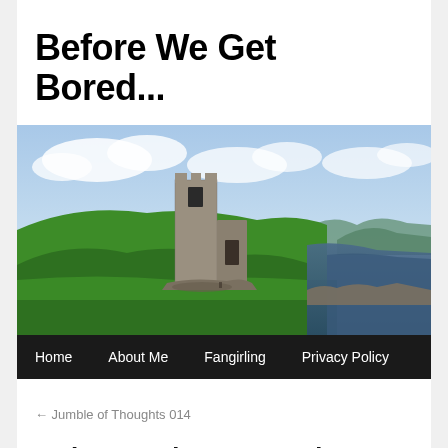Before We Get Bored...
[Figure (photo): A ruined stone castle tower on a green hillside beside a body of water under a partly cloudy sky, with distant mountains in the background.]
Home   About Me   Fangirling   Privacy Policy
← Jumble of Thoughts 014
Guitars and Drums and Desperate Poetry